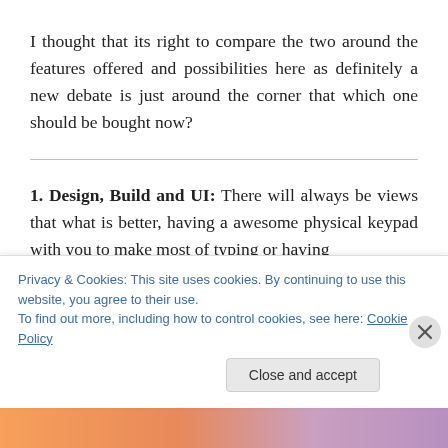I thought that its right to compare the two around the features offered and possibilities here as definitely a new debate is just around the corner that which one should be bought now?
1. Design, Build and UI: There will always be views that what is better, having a awesome physical keypad with you to make most of typing or having
Privacy & Cookies: This site uses cookies. By continuing to use this website, you agree to their use.
To find out more, including how to control cookies, see here: Cookie Policy
Close and accept